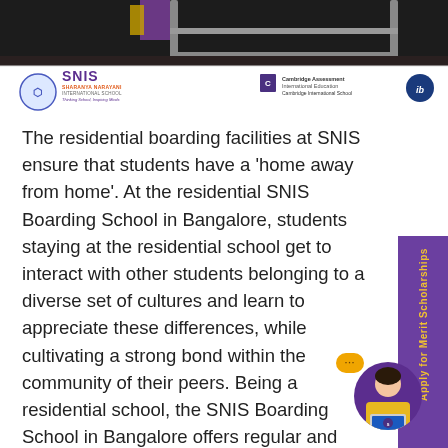[Figure (photo): Top portion showing bunk bed / room interior with dark tones; below it a white logo bar with SNIS (Sharanya Narayani International School) logo on the left and Cambridge Assessment International Education / Cambridge International School with IB badge on the right.]
The residential boarding facilities at SNIS ensure that students have a 'home away from home'. At the residential SNIS Boarding School in Bangalore, students staying at the residential school get to interact with other students belonging to a diverse set of cultures and learn to appreciate these differences, while cultivating a strong bond within the community of their peers. Being a residential school, the SNIS Boarding School in Bangalore offers regular and weekly boa... with separate blocks for boys and girls w... each room houses 3 students. Along with... hygienic and nutritious multi cuisine kitchen, SNIS Boarding School in Bangalore the...